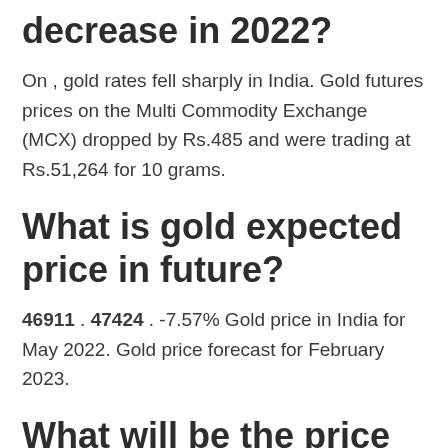decrease in 2022?
On , gold rates fell sharply in India. Gold futures prices on the Multi Commodity Exchange (MCX) dropped by Rs.485 and were trading at Rs.51,264 for 10 grams.
What is gold expected price in future?
46911 . 47424 . -7.57% Gold price in India for May 2022. Gold price forecast for February 2023.
What will be the price of gold in 2023?